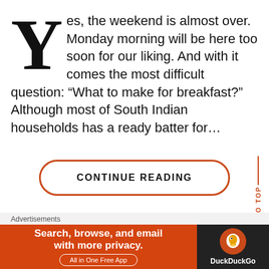Yes, the weekend is almost over. Monday morning will be here too soon for our liking. And with it comes the most difficult question: “What to make for breakfast?” Although most of South Indian households has a ready batter for…
CONTINUE READING
Advertisements
[Figure (other): DuckDuckGo advertisement banner: Search, browse, and email with more privacy. All in One Free App]